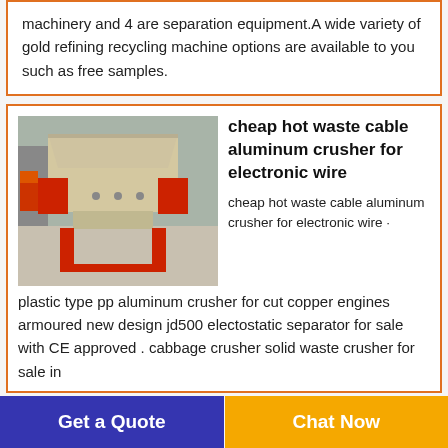machinery and 4 are separation equipment.A wide variety of gold refining recycling machine options are available to you such as free samples.
[Figure (photo): Photo of a red and beige industrial cable crusher/shredder machine on red metal legs, viewed from the front, with a large hopper on top.]
cheap hot waste cable aluminum crusher for electronic wire
cheap hot waste cable aluminum crusher for electronic wire · plastic type pp aluminum crusher for cut copper engines armoured new design jd500 electostatic separator for sale with CE approved . cabbage crusher solid waste crusher for sale in
Get a Quote
Chat Now